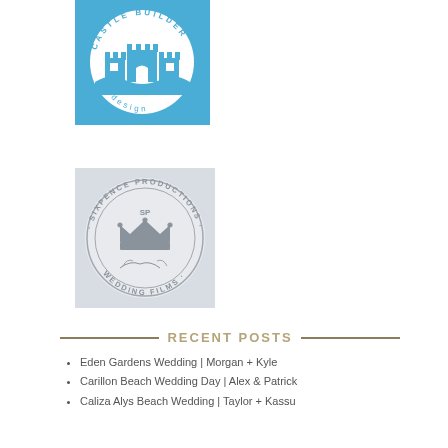[Figure (logo): Castle Builder Design logo — blue square with circular badge containing a castle illustration and the text 'CASTLE BUILDER' arcing above and 'design' arcing below in white on blue background]
[Figure (logo): Sixpence Productions Wedding Films logo — light gray square with circular stamp/seal design containing a crown illustration and text 'SIXPENCE PRODUCTIONS' arcing around and 'WEDDING FILMS' at the bottom]
RECENT POSTS
Eden Gardens Wedding | Morgan + Kyle
Carillon Beach Wedding Day | Alex & Patrick
Caliza Alys Beach Wedding | Taylor + Kassu